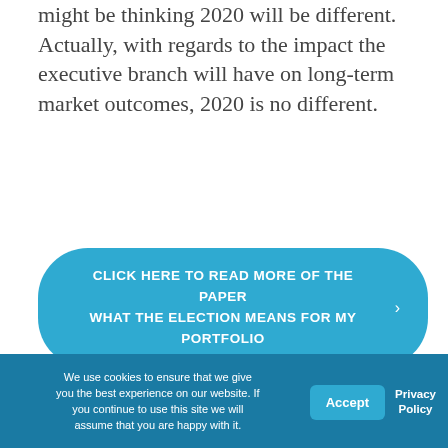might be thinking 2020 will be different. Actually, with regards to the impact the executive branch will have on long-term market outcomes, 2020 is no different.
[Figure (other): Blue rounded rectangle button with text: CLICK HERE TO READ MORE OF THE PAPER WHAT THE ELECTION MEANS FOR MY PORTFOLIO, with a right-pointing chevron arrow on the right side]
The information contained herein is intended for the recipient, is confidential and may not be disseminated or distributed to any
We use cookies to ensure that we give you the best experience on our website. If you continue to use this site we will assume that you are happy with it.
Accept
Privacy Policy